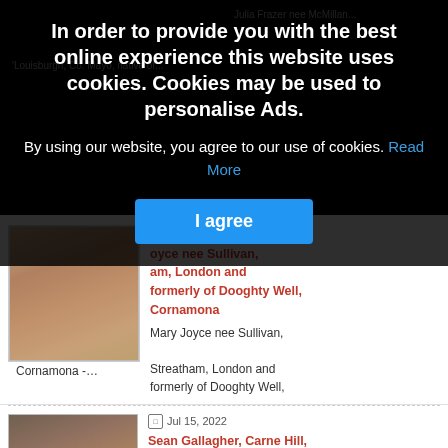[Figure (screenshot): Website cookie consent overlay on top of an obituary/death notices webpage. The overlay has a dark semi-transparent background with bold white text stating cookie policy, a blue 'Read More' link, and a blue 'I agree' button. Behind the overlay are obituary entries with portrait photos and red-linked names.]
In order to provide you with the best online experience this website uses cookies. Cookies may be used to personalise Ads.
By using our website, you agree to our use of cookies. Read More
I agree
joyce nee Sullivan, am, London and formerly of Dooghty Well, Cornamona
Mary Joyce nee Sullivan,
Streatham, London and formerly of Dooghty Well,
Cornamona -…
Jul 15, 2022
Sean Gallagher, Carne Hill, Belmullet and formerly of Tallagh Hill, Belmullet and of Errew, Castlehill, Crossmolina, Ballina, Co. Mayo
Sean Gallagher...